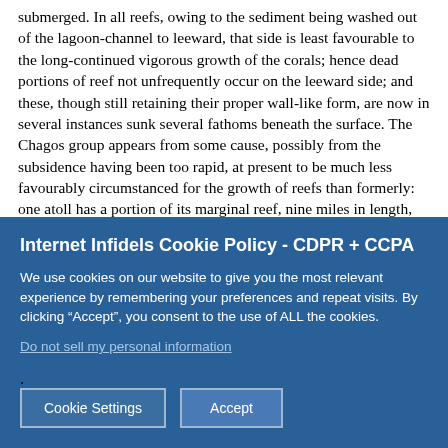submerged. In all reefs, owing to the sediment being washed out of the lagoon-channel to leeward, that side is least favourable to the long-continued vigorous growth of the corals; hence dead portions of reef not unfrequently occur on the leeward side; and these, though still retaining their proper wall-like form, are now in several instances sunk several fathoms beneath the surface. The Chagos group appears from some cause, possibly from the subsidence having been too rapid, at present to be much less favourably circumstanced for the growth of reefs than formerly: one atoll has a portion of its marginal reef, nine miles in length, dead and submerged; a second has only a few quite small living points which rise to the surface, a third and fourth are entirely dead and submerged; a fifth is a mere wreck, with its structure almost obliterated. It is remarkable that in all these cases, the
Internet Infidels Cookie Policy - CDPR + CCPA
We use cookies on our website to give you the most relevant experience by remembering your preferences and repeat visits. By clicking “Accept”, you consent to the use of ALL the cookies.
Do not sell my personal information.